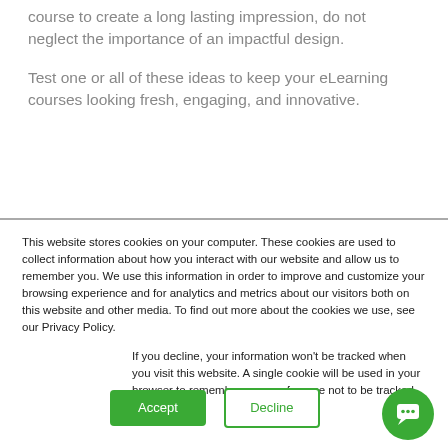course to create a long lasting impression, do not neglect the importance of an impactful design.
Test one or all of these ideas to keep your eLearning courses looking fresh, engaging, and innovative.
This website stores cookies on your computer. These cookies are used to collect information about how you interact with our website and allow us to remember you. We use this information in order to improve and customize your browsing experience and for analytics and metrics about our visitors both on this website and other media. To find out more about the cookies we use, see our Privacy Policy.
If you decline, your information won’t be tracked when you visit this website. A single cookie will be used in your browser to remember your preference not to be tracked.
Accept
Decline